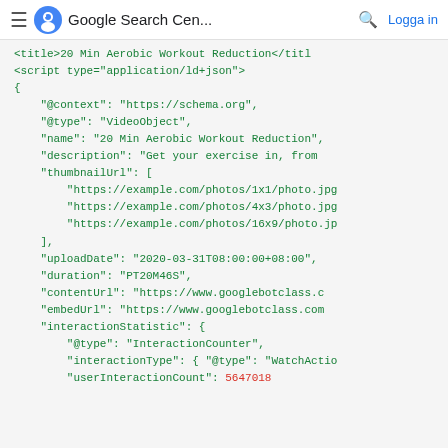Google Search Cen... Logga in
<title>20 Min Aerobic Workout Reduction</title>
<script type="application/ld+json">
{
    "@context": "https://schema.org",
    "@type": "VideoObject",
    "name": "20 Min Aerobic Workout Reduction",
    "description": "Get your exercise in, from
    "thumbnailUrl": [
        "https://example.com/photos/1x1/photo.jpg
        "https://example.com/photos/4x3/photo.jpg
        "https://example.com/photos/16x9/photo.jp
    ],
    "uploadDate": "2020-03-31T08:00:00+08:00",
    "duration": "PT20M46S",
    "contentUrl": "https://www.googlebotclass.c
    "embedUrl": "https://www.googlebotclass.com
    "interactionStatistic": {
        "@type": "InteractionCounter",
        "interactionType": { "@type": "WatchActio
        "userInteractionCount": 5647018